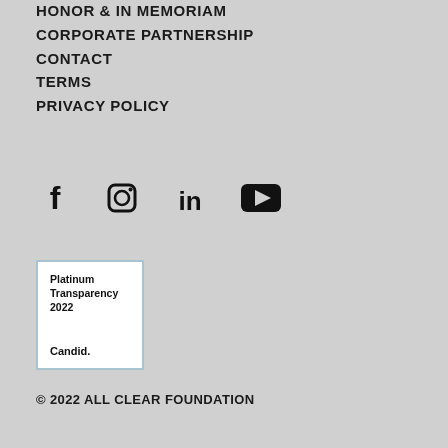HONOR & IN MEMORIAM
CORPORATE PARTNERSHIP
CONTACT
TERMS
PRIVACY POLICY
[Figure (infographic): Social media icons: Facebook, Instagram, LinkedIn, YouTube]
[Figure (logo): Platinum Transparency 2022 Candid. badge with light blue border]
© 2022 ALL CLEAR FOUNDATION